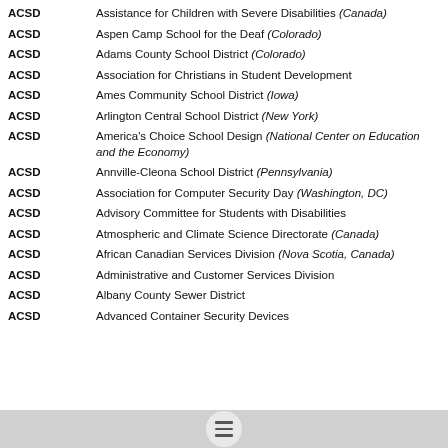ACSD — Assistance for Children with Severe Disabilities (Canada)
ACSD — Aspen Camp School for the Deaf (Colorado)
ACSD — Adams County School District (Colorado)
ACSD — Association for Christians in Student Development
ACSD — Ames Community School District (Iowa)
ACSD — Arlington Central School District (New York)
ACSD — America's Choice School Design (National Center on Education and the Economy)
ACSD — Annville-Cleona School District (Pennsylvania)
ACSD — Association for Computer Security Day (Washington, DC)
ACSD — Advisory Committee for Students with Disabilities
ACSD — Atmospheric and Climate Science Directorate (Canada)
ACSD — African Canadian Services Division (Nova Scotia, Canada)
ACSD — Administrative and Customer Services Division
ACSD — Albany County Sewer District
ACSD — Advanced Container Security Devices